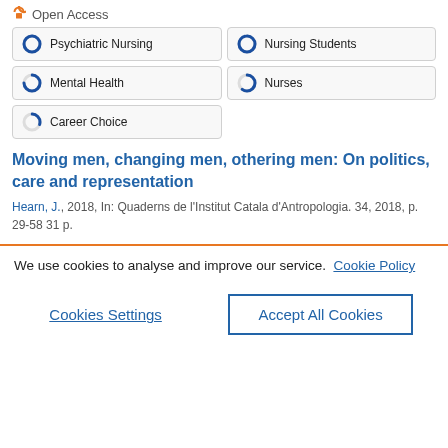Open Access
[Figure (infographic): Five topic pills showing donut/ring icons with subject labels: Psychiatric Nursing (full ring), Nursing Students (full ring), Mental Health (partial ring ~75%), Nurses (partial ring ~60%), Career Choice (small arc ~30%)]
Moving men, changing men, othering men: On politics, care and representation
Hearn, J., 2018, In: Quaderns de l'Institut Catala d'Antropologia. 34, 2018, p. 29-58 31 p.
We use cookies to analyse and improve our service. Cookie Policy
Cookies Settings
Accept All Cookies